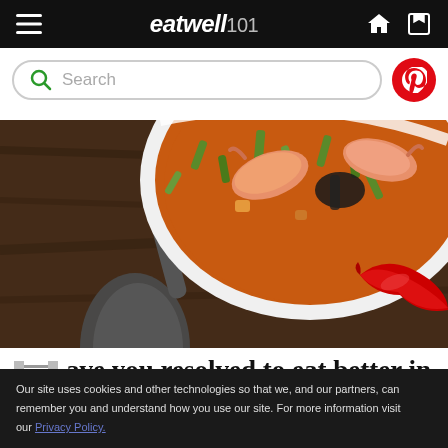eatwell101 [navigation header with hamburger menu, logo, home icon, and bookmark icon]
Search
[Figure (photo): Overhead view of a bowl of shrimp soup with green onions and vegetables, a dark spoon on the left, and a red chili pepper on the right, on a dark wood surface.]
ave you resolved to eat better in the new
Our site uses cookies and other technologies so that we, and our partners, can remember you and understand how you use our site. For more information visit our Privacy Policy.